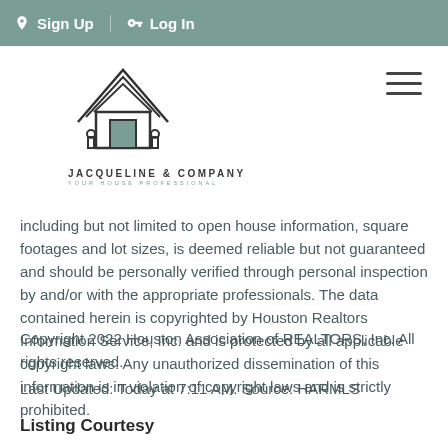Sign Up  Log In
[Figure (logo): Jacqueline & Company house logo with stylized roof lines and plants, text JACQUELINE & COMPANY YOUR HOUSE PROFESSIONAL]
including but not limited to open house information, square footages and lot sizes, is deemed reliable but not guaranteed and should be personally verified through personal inspection by and/or with the appropriate professionals. The data contained herein is copyrighted by Houston Realtors Information Service, Inc. and is protected by all applicable copyright laws. Any unauthorized dissemination of this information is in violation of copyright laws and is strictly prohibited.
Copyright 2022 Houston Association of REALTORS, Inc. All rights reserved.
Last Updated: Today at 7:11 AM. Source: HARMLS
Listing Courtesy